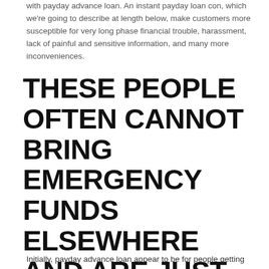with payday advance loan. An instant payday loan con, which we're going to describe at length below, make customers more susceptible for very long phase financial trouble, harassment, lack of painful and sensitive information, and many more inconveniences.
THESE PEOPLE OFTEN CANNOT BRING EMERGENCY FUNDS ELSEWHERE AND ARE JUST ABOUT FORCED TO JUST TAKE AN INSTANT PAYDAY LOAN
Initially, payday advance loan appear to be for people getting